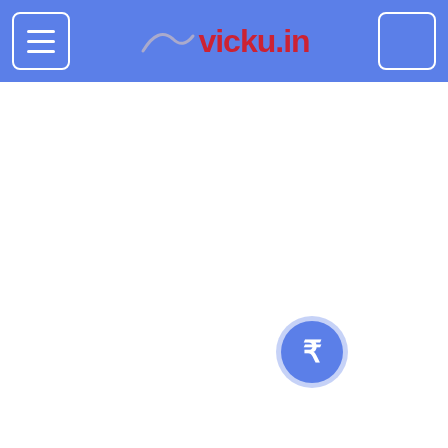vicky.in
Honda Activa 5G On Road Price in Angamaly